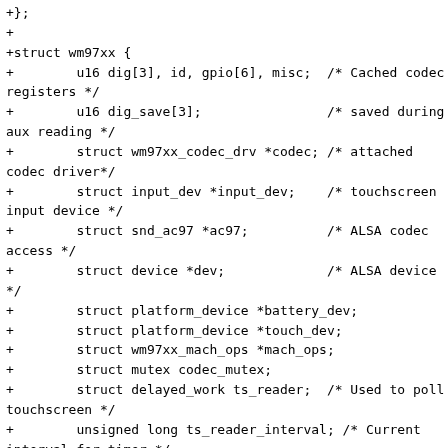+};
+
+struct wm97xx {
+        u16 dig[3], id, gpio[6], misc;  /* Cached codec registers */
+        u16 dig_save[3];                /* saved during aux reading */
+        struct wm97xx_codec_drv *codec; /* attached codec driver*/
+        struct input_dev *input_dev;    /* touchscreen input device */
+        struct snd_ac97 *ac97;          /* ALSA codec access */
+        struct device *dev;             /* ALSA device */
+        struct platform_device *battery_dev;
+        struct platform_device *touch_dev;
+        struct wm97xx_mach_ops *mach_ops;
+        struct mutex codec_mutex;
+        struct delayed_work ts_reader;  /* Used to poll touchscreen */
+        unsigned long ts_reader_interval; /* Current interval for timer */
+        unsigned long ts_reader_min_interval; /* Minimum interval */
+        unsigned int pen_irq;           /* Pen IRQ number in use */
+        struct workqueue_struct *ts_workq;
+        struct work_struct pen_event_work;
+        u16 acc_slot;                   /* AC97 slot